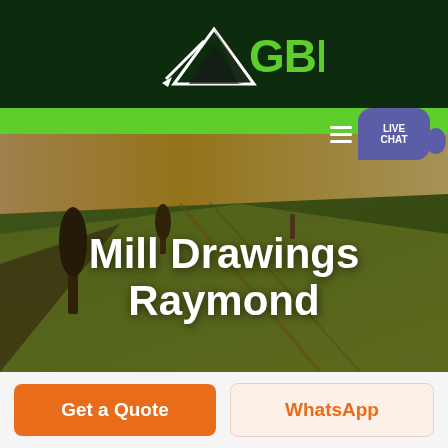[Figure (logo): GBM logo with green mountain/arrow shape and bold green GBM text on dark green background header]
[Figure (screenshot): Green navigation bar with hamburger menu icon and LIVE CHAT speech bubble button on right side]
[Figure (photo): Aerial photo of rolling agricultural fields with green and golden tones, trees visible]
Mill Drawings Raymond
Get a Quote
WhatsApp